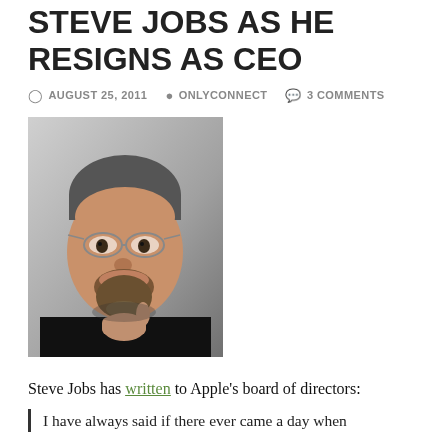STEVE JOBS AS HE RESIGNS AS CEO
AUGUST 25, 2011   ONLYCONNECT   3 COMMENTS
[Figure (photo): Portrait photo of Steve Jobs, wearing glasses and a black turtleneck, hand raised to chin, against a light background.]
Steve Jobs has written to Apple's board of directors:
I have always said if there ever came a day when